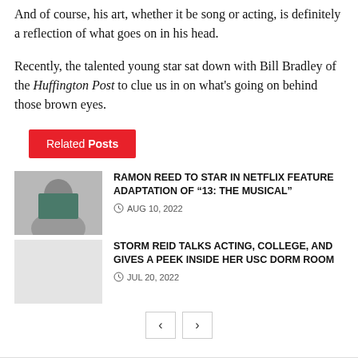And of course, his art, whether it be song or acting, is definitely a reflection of what goes on in his head.
Recently, the talented young star sat down with Bill Bradley of the Huffington Post to clue us in on what's going on behind those brown eyes.
Related Posts
RAMON REED TO STAR IN NETFLIX FEATURE ADAPTATION OF “13: THE MUSICAL”
AUG 10, 2022
STORM REID TALKS ACTING, COLLEGE, AND GIVES A PEEK INSIDE HER USC DORM ROOM
JUL 20, 2022